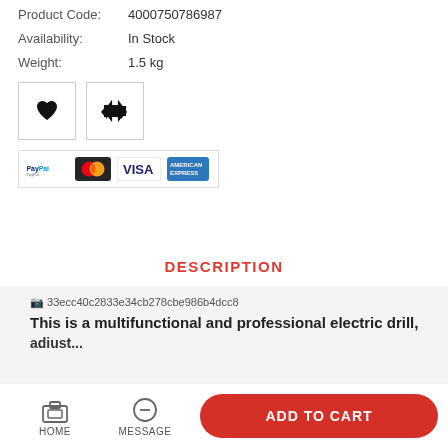Product Code:  4000750786987
Availability:  In Stock
Weight:  1.5 kg
[Figure (other): Heart (favorite) icon button and retweet/share icon button, both inside square bordered boxes]
[Figure (other): Payment method logos: PayPal, MasterCard, Visa, American Express]
DESCRIPTION
This is a multifunctional and professional electric drill,
HOME  MESSAGE  ADD TO CART